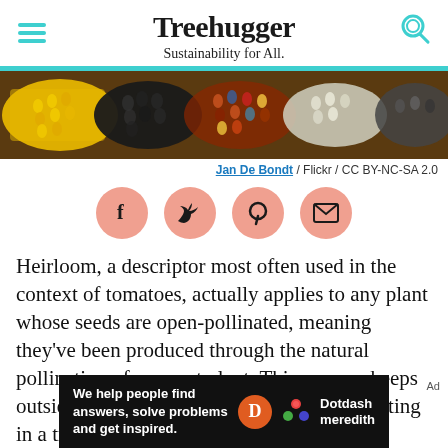Treehugger — Sustainability for All.
[Figure (photo): Close-up photograph of colorful heirloom corn cobs showing yellow, dark/black, and multicolored kernels.]
Jan De Bondt / Flickr / CC BY-NC-SA 2.0
[Figure (infographic): Social sharing buttons: Facebook, Twitter, Pinterest, Email — salmon/coral circular icons.]
Heirloom, a descriptor most often used in the context of tomatoes, actually applies to any plant whose seeds are open-pollinated, meaning they've been produced through the natural pollination of a parent plant. This process keeps outside pollen from entering the patch; resulting in a truebred plant.
[Figure (infographic): Advertisement banner: 'We help people find answers, solve problems and get inspired.' with Dotdash Meredith logo.]